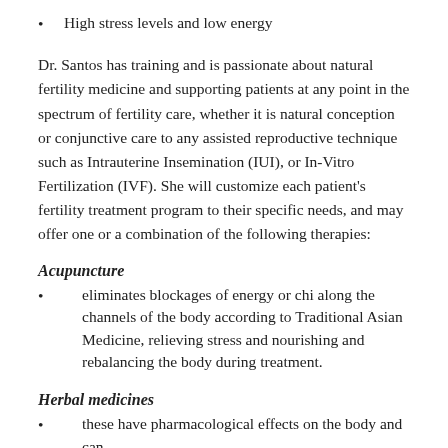High stress levels and low energy
Dr. Santos has training and is passionate about natural fertility medicine and supporting patients at any point in the spectrum of fertility care, whether it is natural conception or conjunctive care to any assisted reproductive technique such as Intrauterine Insemination (IUI), or In-Vitro Fertilization (IVF). She will customize each patient's fertility treatment program to their specific needs, and may offer one or a combination of the following therapies:
Acupuncture
eliminates blockages of energy or chi along the channels of the body according to Traditional Asian Medicine, relieving stress and nourishing and rebalancing the body during treatment.
Herbal medicines
these have pharmacological effects on the body and can